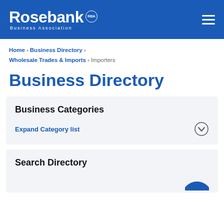Rosebank Business Association
Home › Business Directory › Wholesale Trades & Imports › Importers
Business Directory
Business Categories
Expand Category list
Search Directory